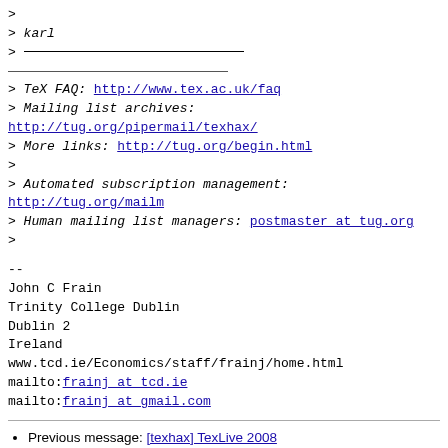> 
> karl
> ___________________________________________
> TeX FAQ: http://www.tex.ac.uk/faq
> Mailing list archives: http://tug.org/pipermail/texhax/
> More links: http://tug.org/begin.html
>
> Automated subscription management: http://tug.org/mailman/
> Human mailing list managers: postmaster at tug.org
>
--
John C Frain
Trinity College Dublin
Dublin 2
Ireland
www.tcd.ie/Economics/staff/frainj/home.html
mailto:frainj_at_tcd.ie
mailto:frainj_at_gmail.com
Previous message: [texhax] TexLive 2008
Next message: [texhax] TexLive 2008
Messages sorted by: [ date ] [ thread ] [ subject ] [ author ]
More information about the texhax mailing list